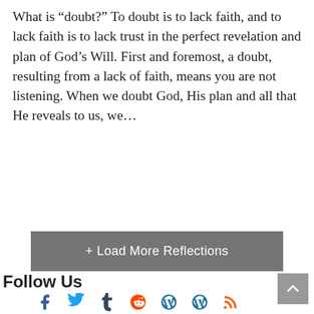What is “doubt?”  To doubt is to lack faith, and to lack faith is to lack trust in the perfect revelation and plan of God’s Will.  First and foremost, a doubt, resulting from a lack of faith, means you are not listening.  When we doubt God, His plan and all that He reveals to us, we…
[Figure (other): A grey button labeled '+ Load More Reflections']
Follow Us
[Figure (other): Social media icons: Facebook, Twitter, Tumblr, Reddit, WordPress, WordPress, RSS]